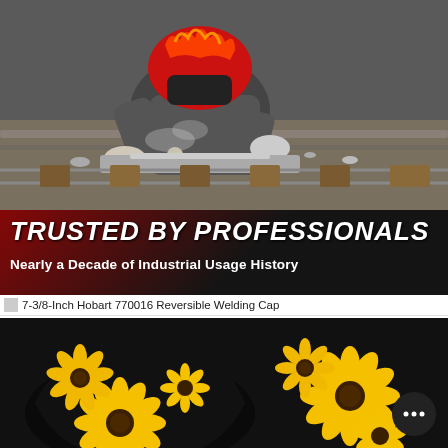[Figure (photo): A welder in a red flame helmet and thick grey gloves working on metal rails/tracks, sparks and smoke visible. Industrial outdoor scene.]
TRUSTED BY PROFESSIONALS
Nearly a Decade of Industrial Usage History
7-3/8-Inch Hobart 770016 Reversible Welding Cap
[Figure (photo): Two welding caps (beanies) with sunflower print pattern on black background, shown side by side. Yellow sunflowers on black fabric.]